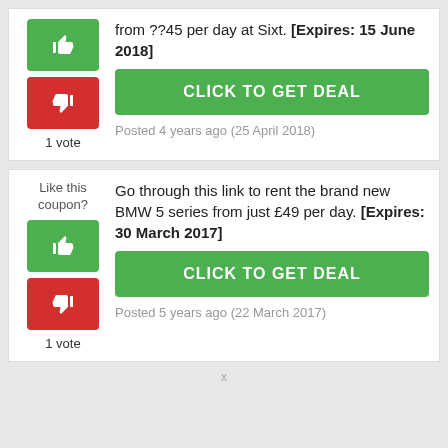from ??45 per day at Sixt. [Expires: 15 June 2018]
CLICK TO GET DEAL
Posted 4 years ago (25 April 2018)
Like this coupon?
Go through this link to rent the brand new BMW 5 series from just £49 per day. [Expires: 30 March 2017]
CLICK TO GET DEAL
Posted 5 years ago (22 March 2017)